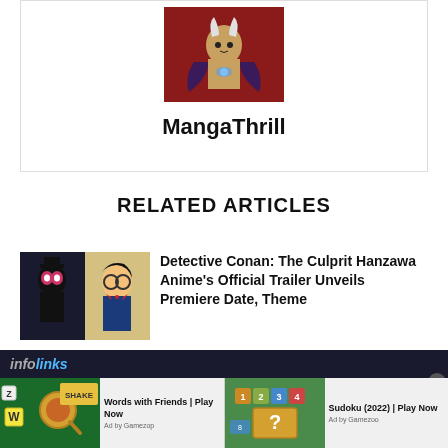[Figure (illustration): Anime character illustration on dark red background inside a bordered card]
MangaThrill
RELATED ARTICLES
[Figure (illustration): Detective Conan: The Culprit Hanzawa anime thumbnail - split image showing dark silhouette character on left and anime character on right]
Detective Conan: The Culprit Hanzawa Anime's Official Trailer Unveils Premiere Date, Theme
[Figure (screenshot): Infolinks advertisement bar with two game ads: Words with Friends | Play Now (Ad by Gamezop) and Sudoku (2022) | Play Now (Ad by Gamezoo)]